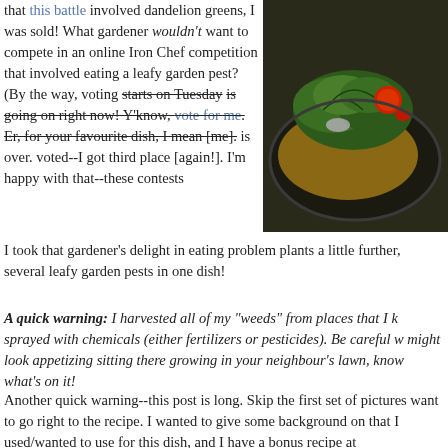that this battle involved dandelion greens, I was sold! What gardener wouldn't want to compete in an online Iron Chef competition that involved eating a leafy garden pest? (By the way, voting starts on Tuesday is going on right now! Y'know, vote for me. Er, for your favourite dish, I mean [me]. is over. voted--I got third place [again!]. I'm happy with that--these contests
[Figure (photo): A plate of food with greens (dandelion greens), tomatoes, and what appears to be a meat dish on a dark plate.]
I took that gardener's delight in eating problem plants a little further, several leafy garden pests in one dish!
A quick warning: I harvested all of my "weeds" from places that I k sprayed with chemicals (either fertilizers or pesticides). Be careful w might look appetizing sitting there growing in your neighbour's lawn, know what's on it!
Another quick warning--this post is long. Skip the first set of pictures want to go right to the recipe. I wanted to give some background on that I used/wanted to use for this dish, and I have a bonus recipe at